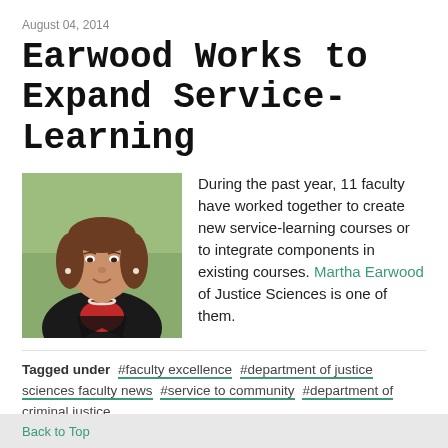August 04, 2014
Earwood Works to Expand Service-Learning
[Figure (photo): Headshot of Martha Earwood, a woman with brown hair, smiling, wearing a dark blazer with a red scarf and pearl necklace, photographed outdoors.]
During the past year, 11 faculty have worked together to create new service-learning courses or to integrate components in existing courses. Martha Earwood of Justice Sciences is one of them.
Tagged under  #faculty excellence  #department of justice sciences faculty news  #service to community  #department of criminal justice
Back to Top